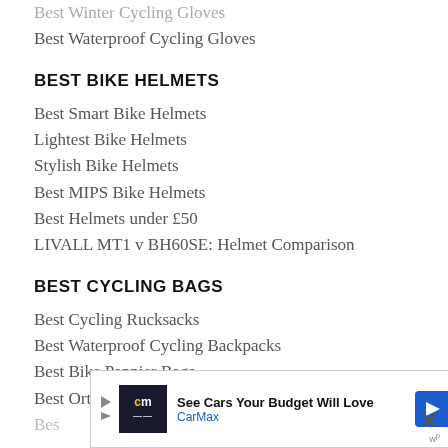Best Winter Cycling Gloves
Best Waterproof Cycling Gloves
BEST BIKE HELMETS
Best Smart Bike Helmets
Lightest Bike Helmets
Stylish Bike Helmets
Best MIPS Bike Helmets
Best Helmets under £50
LIVALL MT1 v BH60SE: Helmet Comparison
BEST CYCLING BAGS
Best Cycling Rucksacks
Best Waterproof Cycling Backpacks
Best Bike Pannier Bags
Best Ortlieb Bikepacking Gear
[Figure (other): CarMax advertisement banner: See Cars Your Budget Will Love]